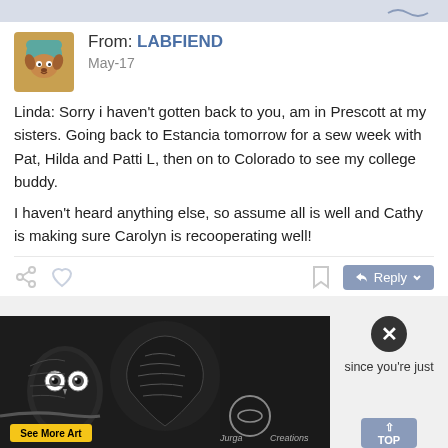From: LABFIEND
May-17
Linda: Sorry i haven't gotten back to you, am in Prescott at my sisters. Going back to Estancia tomorrow for a sew week with Pat, Hilda and Patti L, then on to Colorado to see my college buddy.
I haven't heard anything else, so assume all is well and Cathy is making sure Carolyn is recooperating well!
25271 of 25520 to LABFIEND ✔   Re: msg 25270
From: LindaPutt
May-17
since you're just
See More Art
[Figure (screenshot): Advertisement overlay showing owl artwork by Jurga Creations with a See More Art button]
TOP